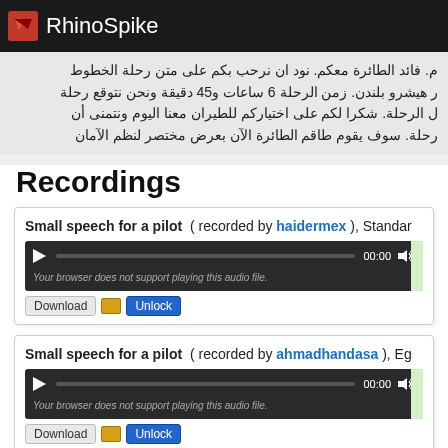RhinoSpike
م. فائد الطائرة معكم. نود ان نرحب بكم على متن رحلة الخطوط
ر هيشرو بلندن. زمن الرحلة 6 ساعات و45 دقيقة ونحن نتوقع رحلة
ل الرحلة. شكرا لكم على اختياركم للطيران معنا اليوم ونتمنى أن
رحلة. سوف يقوم طاقم الطائرة الآن بعرض مختصر لنظم الأمان
Recordings
Small speech for a pilot ( recorded by haidermex ), Standar
[Figure (other): Audio player widget showing 00:00 timestamp with play button, progress bar, and volume icon. Text: Your browser does not support playing this audio file.]
Download | [folder icon] | Unlock
Small speech for a pilot ( recorded by ahmadhandasa ), Eg
[Figure (other): Second audio player widget showing 00:00 timestamp with play button, progress bar, and volume icon. Text: Your browser does not support playing this audio file.]
Download | [folder icon] | Unlock